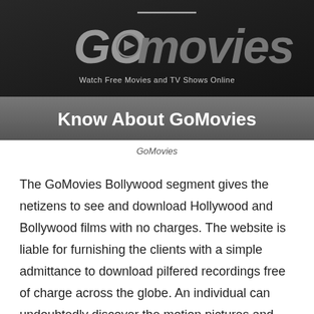[Figure (logo): GoMovies banner with dark background showing the GoMovies logo with play button icon, subtitle 'Watch Free Movies and TV Shows Online', and a gray bar with bold white text 'Know About GoMovies']
GoMovies
The GoMovies Bollywood segment gives the netizens to see and download Hollywood and Bollywood films with no charges. The website is liable for furnishing the clients with a simple admittance to download pilfered recordings free of charge across the globe. An individual can undoubtedly discover the motion pictures and shows on the webpage by perusing the amazingly tremendous substance accessible on their site. GoMovies is associated with a few other theft sites giving them HD video content also.